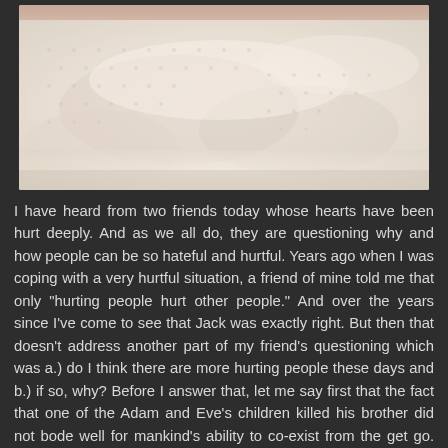[Figure (photo): Close-up photo of a baby or infant wrapped in a white knit/textured blanket, with a small portion of skin visible at the top]
I have heard from two friends today whose hearts have been hurt deeply. And as we all do, they are questioning why and how people can be so hateful and hurtful. Years ago when I was coping with a very hurtful situation, a friend of mine told me that only "hurting people hurt other people." And over the years since I've come to see that Jack was exactly right. But then that doesn't address another part of my friend's questioning which was a.) do I think there are more hurting people these days and b.) if so, why? Before I answer that, let me say first that the fact that one of the Adam and Eve's children killed his brother did not bode well for mankind's ability to co-exist from the get go. We live in a fallen world in which good and evil do exist and have from the moment the choice was